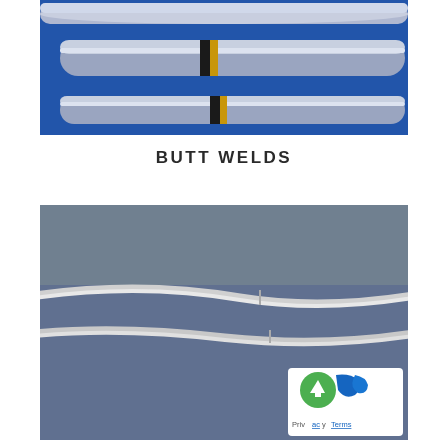[Figure (photo): Close-up photo of cylindrical rods or tubes (possibly medical or engineering components) with black band markings, arranged horizontally on a blue background. Three rods visible, two with black/gold band markers near center.]
BUTT WELDS
[Figure (photo): Photo of two thin white/silver curved wires or rods on a blue-grey background, each showing a butt weld joint (slightly visible seam) at approximately the center-right area. A privacy/terms watermark button is visible in the bottom-right corner.]